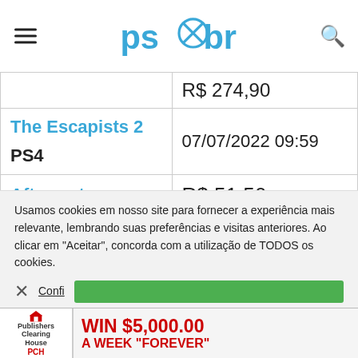ps*br
| Game / Platform | Price / Date |
| --- | --- |
| The Escapists 2
PS4 | R$ 274,90 (partial)
07/07/2022 09:59 |
| Afterparty Bundle: Game + Dynamic Theme + Avatars | R$ 51,56
R$ 128,90
07/07/2022 09:59 |
Usamos cookies em nosso site para fornecer a experiência mais relevante, lembrando suas preferências e visitas anteriores. Ao clicar em "Aceitar", concorda com a utilização de TODOS os cookies.
Configurações
[Figure (infographic): PCH Publishers Clearing House advertisement: WIN $5,000.00 A WEEK "FOREVER"]